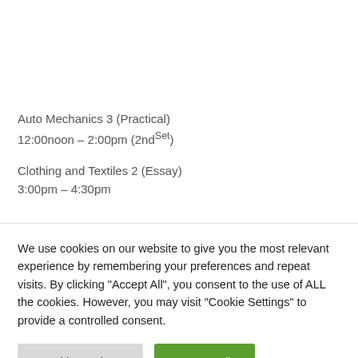Auto Mechanics 3 (Practical)
12:00noon – 2:00pm (2ndSet)
Clothing and Textiles 2 (Essay)
3:00pm – 4:30pm
We use cookies on our website to give you the most relevant experience by remembering your preferences and repeat visits. By clicking "Accept All", you consent to the use of ALL the cookies. However, you may visit "Cookie Settings" to provide a controlled consent.